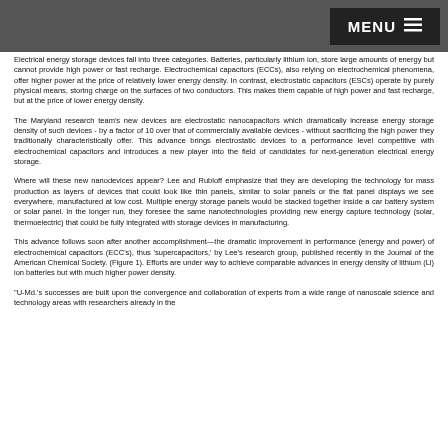MENU
Electrical energy storage devices fall into three categories. Batteries, particularly lithium ion, store large amounts of energy but cannot provide high power or fast recharge. Electrochemical capacitors (ECCs), also relying on electrochemical phenomena, offer higher power at the price of relatively lower energy density. In contrast, electrostatic capacitors (ESCs) operate by purely physical means, storing charge on the surfaces of two conductors. This makes them capable of high power and fast recharge, but at the price of lower energy density.
The Maryland research team's new devices are electrostatic nanocapacitors which dramatically increase energy storage density of such devices - by a factor of 10 over that of commercially available devices - without sacrificing the high power they traditionally characteristically offer. This advance brings electrostatic devices to a performance level competitive with electrochemical capacitors and introduces a new player into the field of candidates for next-generation electrical energy storage.
Where will these new nanodevices appear? Lee and Rubloff emphasize that they are developing the technology for mass production as layers of devices that could look like thin panels, similar to solar panels or the flat panel displays we see everywhere, manufactured at low cost. Multiple energy storage panels would be stacked together inside a car battery system or solar panel. In the longer run, they foresee the same nanotechnologies providing new energy capture technology (solar, thermoelectric) that could be fully integrated with storage devices in manufacturing.
This advance follows soon after another accomplishment—the dramatic improvement in performance (energy and power) of electrochemical capacitors (ECC's), thus 'supercapacitors,' by Lee's research group, published recently in the Journal of the American Chemical Society. (Figure 1). Efforts are under way to achieve comparable advances in energy density of lithium (Li) ion batteries but with much higher power density.
"U-Md.'s successes are built upon the convergence and collaboration of experts from a wide range of nanoscale science and technology areas with researchers already in the